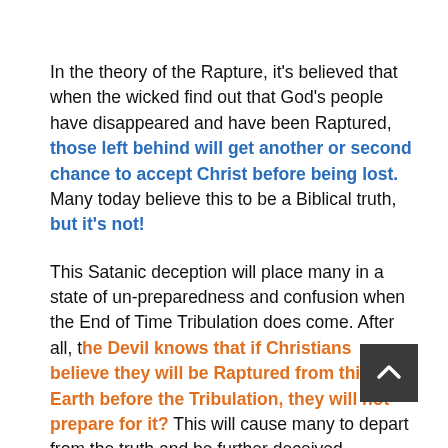In the theory of the Rapture, it's believed that when the wicked find out that God's people have disappeared and have been Raptured, those left behind will get another or second chance to accept Christ before being lost. Many today believe this to be a Biblical truth, but it's not!
This Satanic deception will place many in a state of un-preparedness and confusion when the End of Time Tribulation does come. After all, the Devil knows that if Christians believe they will be Raptured from this Earth before the Tribulation, they will not prepare for it? This will cause many to depart from the truth and be further deceived because they will not understand why they are in the middle of this terrible time.